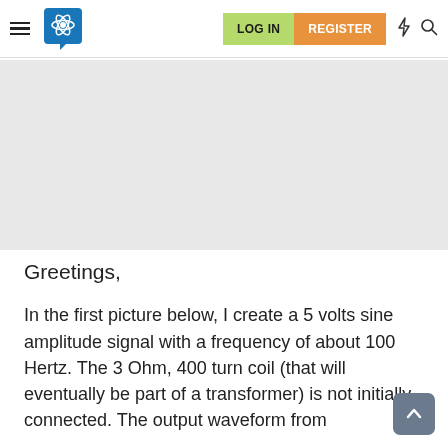LOG IN  REGISTER
[Figure (other): Gray banner/advertisement placeholder area]
Greetings,
In the first picture below, I create a 5 volts sine amplitude signal with a frequency of about 100 Hertz. The 3 Ohm, 400 turn coil (that will eventually be part of a transformer) is not initially connected. The output waveform from